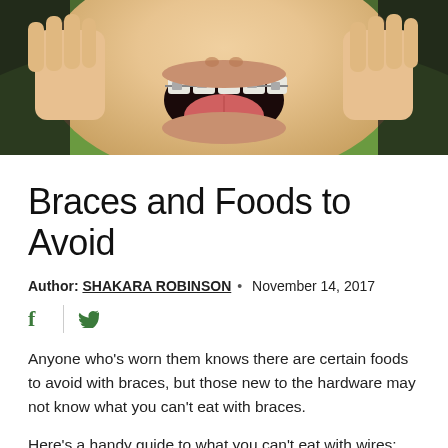[Figure (photo): Person with braces sticking out tongue and pulling cheeks open with fingers, outdoor background]
Braces and Foods to Avoid
Author: SHAKARA ROBINSON • November 14, 2017
[Figure (infographic): Social media share icons: Facebook (f) and Twitter (bird icon) in green]
Anyone who's worn them knows there are certain foods to avoid with braces, but those new to the hardware may not know what you can't eat with braces.
Here's a handy guide to what you can't eat with wires:
Sticky and Chewy